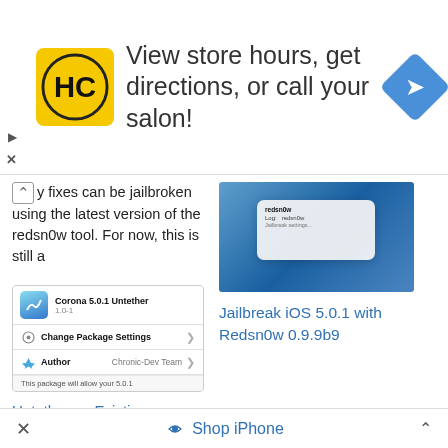[Figure (screenshot): Advertisement banner with HC salon logo (yellow background, black H and C letters), text 'View store hours, get directions, or call your salon!' and a blue diamond navigation arrow icon]
y fixes can be jailbroken using the latest version of the redsn0w tool. For now, this is still a
[Figure (screenshot): Screenshot showing a Mac OS X desktop with an underwater/blue background and a dialog box with text]
Jailbreak iOS 5.0.1 with Redsn0w 0.9.9b9
[Figure (screenshot): Screenshot of Corona 5.0.1 Untether package (version 1.0-1) showing Change Package Settings and Author: Chronic-Dev Team options, with partial description text 'This package will allow your 5.0.1']
Untether an Existing Tethered iOS 5.0.1 Jailbreak with Corona
✕   Shop iPhone   ∧